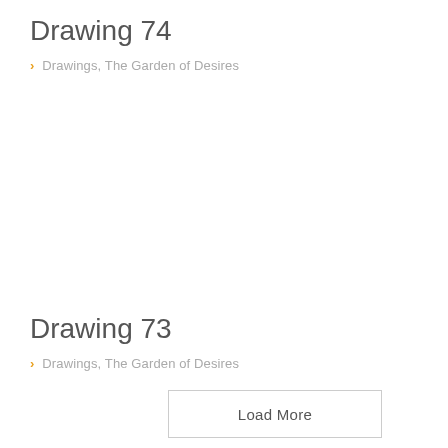Drawing 74
Drawings, The Garden of Desires
Drawing 73
Drawings, The Garden of Desires
Load More